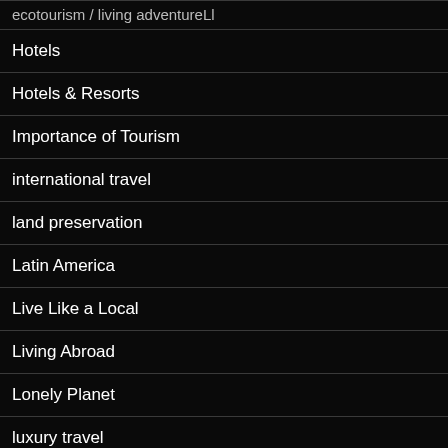ecotourism / living adventureLl
Hotels
Hotels & Resorts
Importance of Tourism
international travel
land preservation
Latin America
Live Like a Local
Living Abroad
Lonely Planet
luxury travel
Middle East
Millennial Travel